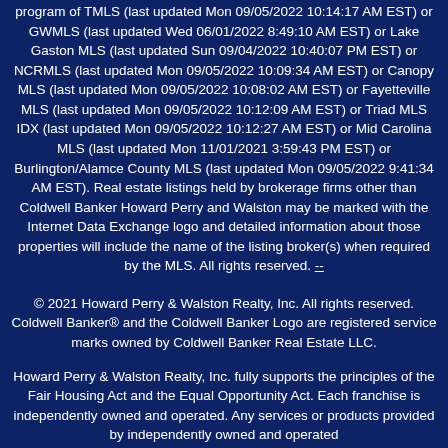program of TMLS (last updated Mon 09/05/2022 10:14:17 AM EST) or GWMLS (last updated Wed 06/01/2022 8:49:10 AM EST) or Lake Gaston MLS (last updated Sun 09/04/2022 10:40:07 PM EST) or NCRMLS (last updated Mon 09/05/2022 10:09:34 AM EST) or Canopy MLS (last updated Mon 09/05/2022 10:08:02 AM EST) or Fayetteville MLS (last updated Mon 09/05/2022 10:12:09 AM EST) or Triad MLS IDX (last updated Mon 09/05/2022 10:12:27 AM EST) or Mid Carolina MLS (last updated Mon 11/01/2021 3:59:43 PM EST) or Burlington/Alamce County MLS (last updated Mon 09/05/2022 9:41:34 AM EST). Real estate listings held by brokerage firms other than Coldwell Banker Howard Perry and Walston may be marked with the Internet Data Exchange logo and detailed information about those properties will include the name of the listing broker(s) when required by the MLS. All rights reserved. --
© 2021 Howard Perry & Walston Realty, Inc. All rights reserved. Coldwell Banker® and the Coldwell Banker Logo are registered service marks owned by Coldwell Banker Real Estate LLC.
Howard Perry & Walston Realty, Inc. fully supports the principles of the Fair Housing Act and the Equal Opportunity Act. Each franchise is independently owned and operated. Any services or products provided by independently owned and operated